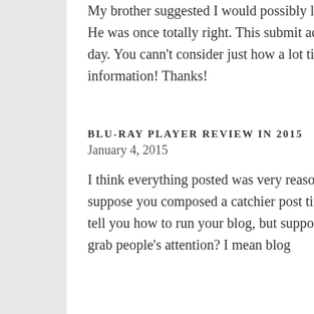My brother suggested I would possibly like this web site. He was once totally right. This submit actually made my day. You cann't consider just how a lot time I had spent for this information! Thanks!
REPLY
BLU-RAY PLAYER REVIEW IN 2015
January 4, 2015
I think everything posted was very reasonable. But, consider this, suppose you composed a catchier post title? I mean, I don't want to tell you how to run your blog, but suppose you added a title to maybe grab people's attention? I mean blog